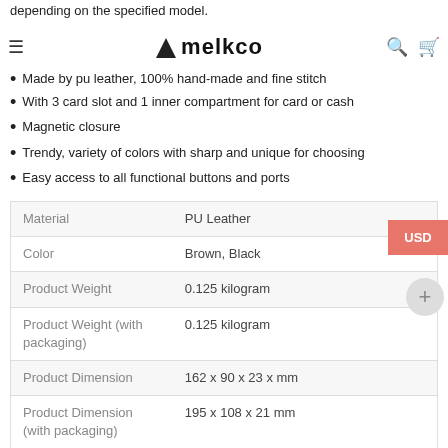depending on the specified model.
Made by pu leather, 100% hand-made and fine stitch
With 3 card slot and 1 inner compartment for card or cash
Magnetic closure
Trendy, variety of colors with sharp and unique for choosing
Easy access to all functional buttons and ports
|  |  |
| --- | --- |
| Material | PU Leather |
| Color | Brown, Black |
| Product Weight | 0.125 kilogram |
| Product Weight (with packaging) | 0.125 kilogram |
| Product Dimension | 162 x 90 x 23 x mm |
| Product Dimension (with packaging) | 195 x 108 x 21 mm |
| Product Code | MMAPIP7LDWDBNCHPU, MMAPIP7LDWDBKCHPU |